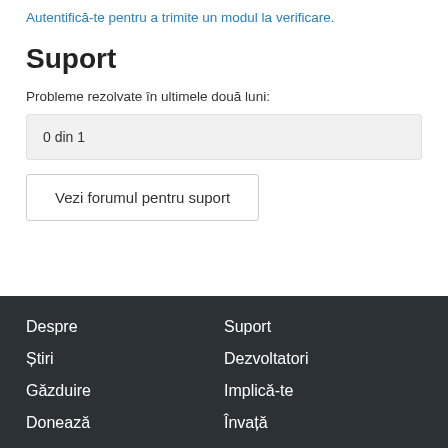Autentifică-te pentru a trimite un modul la verificare.
Suport
Probleme rezolvate în ultimele două luni:
0 din 1
Vezi forumul pentru suport
Despre
Suport
Știri
Dezvoltatori
Găzduire
Implică-te
Donează
Învață